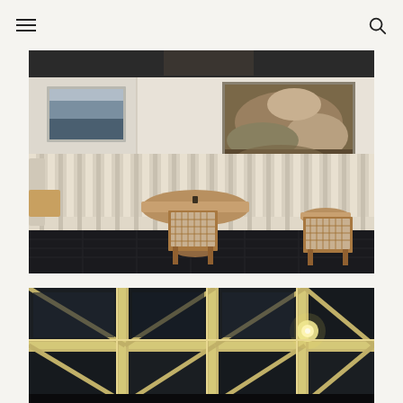navigation header with hamburger menu and search icon
[Figure (photo): Interior of a restaurant or cafe dining area featuring a curved banquette sofa with white and beige/tan vertical stripes, round wooden tables, cane-back wooden chairs, dark stone or tile flooring. Two artworks hang on white walls: a blue-toned seascape painting on the left, and a large dramatic black-and-white photograph of a wave or storm cloud on the right.]
[Figure (photo): Close-up architectural detail of a skylight or glass ceiling structure, showing gold/brass-colored metal framing in a geometric grid pattern against dark glass panels. A light fixture is partially visible.]